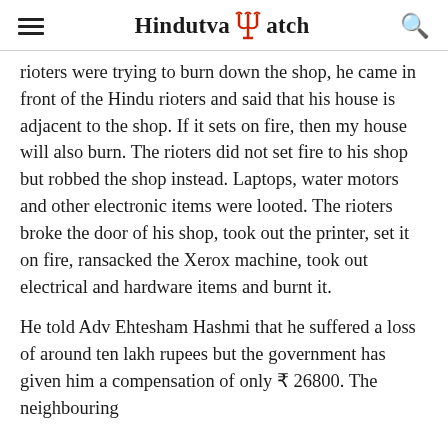Hindutva Watch
rioters were trying to burn down the shop, he came in front of the Hindu rioters and said that his house is adjacent to the shop. If it sets on fire, then my house will also burn. The rioters did not set fire to his shop but robbed the shop instead. Laptops, water motors and other electronic items were looted. The rioters broke the door of his shop, took out the printer, set it on fire, ransacked the Xerox machine, took out electrical and hardware items and burnt it.
He told Adv Ehtesham Hashmi that he suffered a loss of around ten lakh rupees but the government has given him a compensation of only ₹ 26800. The neighbouring